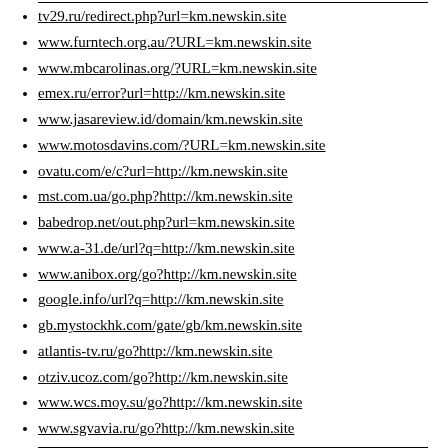tv29.ru/redirect.php?url=km.newskin.site
www.furntech.org.au/?URL=km.newskin.site
www.mbcarolinas.org/?URL=km.newskin.site
emex.ru/error?url=http://km.newskin.site
www.jasareview.id/domain/km.newskin.site
www.motosdavins.com/?URL=km.newskin.site
ovatu.com/e/c?url=http://km.newskin.site
mst.com.ua/go.php?http://km.newskin.site
babedrop.net/out.php?url=km.newskin.site
www.a-31.de/url?q=http://km.newskin.site
www.anibox.org/go?http://km.newskin.site
google.info/url?q=http://km.newskin.site
gb.mystockhk.com/gate/gb/km.newskin.site
atlantis-tv.ru/go?http://km.newskin.site
otziv.ucoz.com/go?http://km.newskin.site
www.wcs.moy.su/go?http://km.newskin.site
www.sgvavia.ru/go?http://km.newskin.site
sport-kids.ru/go.php?url=km.newskin.site
www.knirhat.ru/b.php?url=km.newskin.site